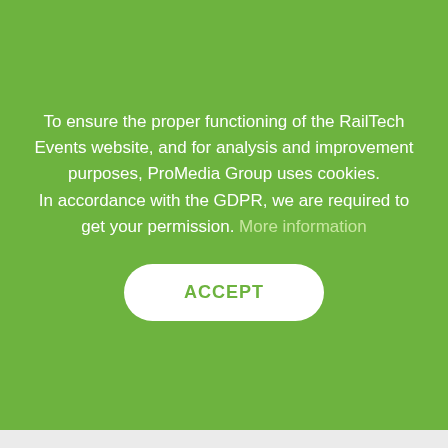To ensure the proper functioning of the RailTech Events website, and for analysis and improvement purposes, ProMedia Group uses cookies. In accordance with the GDPR, we are required to get your permission. More information
ACCEPT